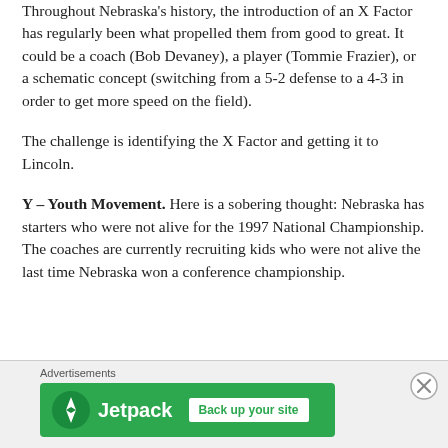Throughout Nebraska's history, the introduction of an X Factor has regularly been what propelled them from good to great.  It could be a coach (Bob Devaney), a player (Tommie Frazier), or a schematic concept (switching from a 5-2 defense to a 4-3 in order to get more speed on the field).
The challenge is identifying the X Factor and getting it to Lincoln.
Y – Youth Movement.  Here is a sobering thought: Nebraska has starters who were not alive for the 1997 National Championship.  The coaches are currently recruiting kids who were not alive the last time Nebraska won a conference championship.
[Figure (other): Jetpack advertisement banner with 'Back up your site' button on green background, with close button overlay]